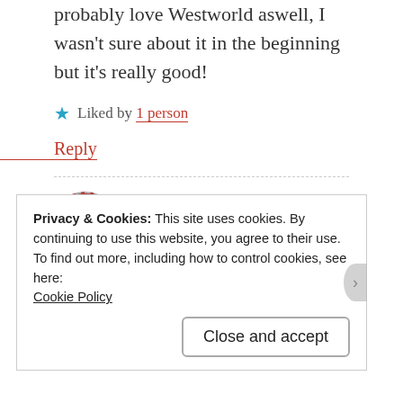probably love Westworld aswell, I wasn't sure about it in the beginning but it's really good!
Liked by 1 person
Reply
mackenziemick
JULY 15, 2017 AT 3:01 AM
Privacy & Cookies: This site uses cookies. By continuing to use this website, you agree to their use.
To find out more, including how to control cookies, see here:
Cookie Policy
Close and accept